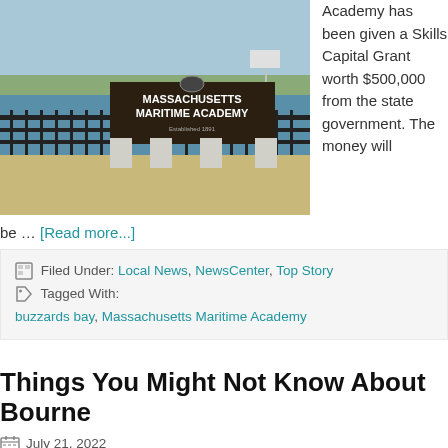[Figure (photo): Massachusetts Maritime Academy sign near waterfront with iron fence and white pillars, water and boats in background]
Academy has been given a Skills Capital Grant worth $500,000 from the state government. The money will be … [Read more...]
Filed Under: Local News, NewsCenter, Top Story  Tagged With: buzzards bay, Massachusetts Maritime Academy
Things You Might Not Know About Bourne
July 21, 2022
[Figure (photo): Tree line with green foliage against a light sky]
The Town of Bourne is a medium-sized